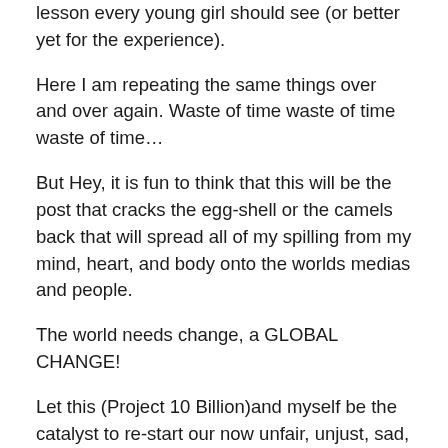lesson every young girl should see (or better yet for the experience).
Here I am repeating the same things over and over again. Waste of time waste of time waste of time…
But Hey, it is fun to think that this will be the post that cracks the egg-shell or the camels back that will spread all of my spilling from my mind, heart, and body onto the worlds medias and people.
The world needs change, a GLOBAL CHANGE!
Let this (Project 10 Billion)and myself be the catalyst to re-start our now unfair, unjust, sad, destructive way of living. Let this be one of the ten future paths every person on this planet will one day (soon)vote on.
KingGDerome (King, wanna-be)